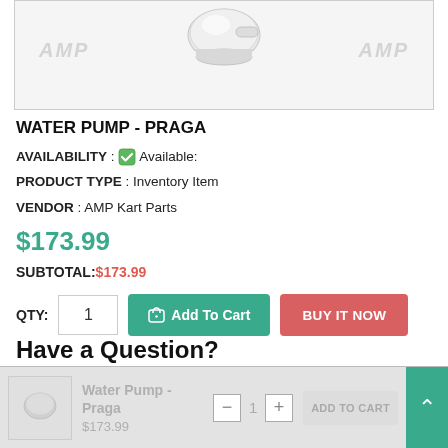[Figure (photo): Product image of a Water Pump - Praga with AMP watermarks on left and right sides, white background]
WATER PUMP - PRAGA
AVAILABILITY : ✅ Available:
PRODUCT TYPE : Inventory Item
VENDOR : AMP Kart Parts
$173.99
SUBTOTAL:$173.99
QTY: 1  [Add To Cart]  [BUY IT NOW]
Water Pump - Praga
$173.99
Have a Question?